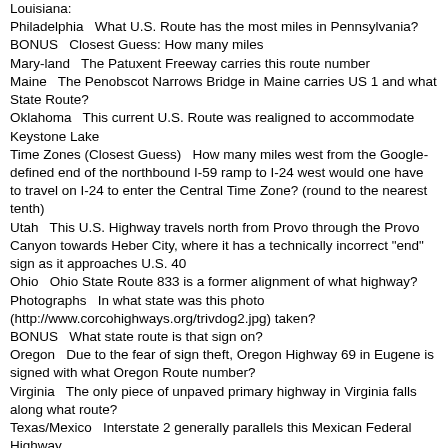Louisiana:
Philadelphia   What U.S. Route has the most miles in Pennsylvania?
BONUS   Closest Guess: How many miles
Mary-land   The Patuxent Freeway carries this route number
Maine   The Penobscot Narrows Bridge in Maine carries US 1 and what State Route?
Oklahoma   This current U.S. Route was realigned to accommodate Keystone Lake
Time Zones (Closest Guess)   How many miles west from the Google-defined end of the northbound I-59 ramp to I-24 west would one have to travel on I-24 to enter the Central Time Zone? (round to the nearest tenth)
Utah   This U.S. Highway travels north from Provo through the Provo Canyon towards Heber City, where it has a technically incorrect "end" sign as it approaches U.S. 40
Ohio   Ohio State Route 833 is a former alignment of what highway?
Photographs   In what state was this photo (http://www.corcohighways.org/trivdog2.jpg) taken?
BONUS   What state route is that sign on?
Oregon   Due to the fear of sign theft, Oregon Highway 69 in Eugene is signed with what Oregon Route number?
Virginia   The only piece of unpaved primary highway in Virginia falls along what route?
Texas/Mexico   Interstate 2 generally parallels this Mexican Federal Highway
Come to the St Louis Meet   What state highway intersects I-55/I-70 at Exit 11
Arizona   This interstate highway is designated at the Purple Heart Trail throughout Arizona